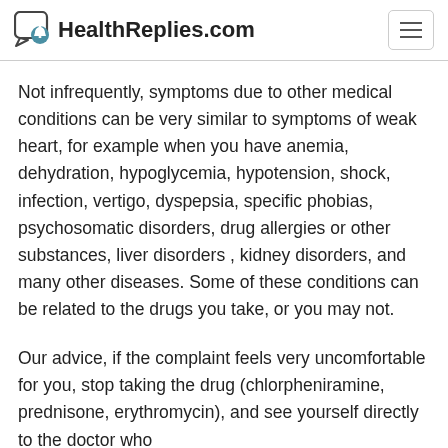HealthReplies.com
Not infrequently, symptoms due to other medical conditions can be very similar to symptoms of weak heart, for example when you have anemia, dehydration, hypoglycemia, hypotension, shock, infection, vertigo, dyspepsia, specific phobias, psychosomatic disorders, drug allergies or other substances, liver disorders , kidney disorders, and many other diseases. Some of these conditions can be related to the drugs you take, or you may not.
Our advice, if the complaint feels very uncomfortable for you, stop taking the drug (chlorpheniramine, prednisone, erythromycin), and see yourself directly to the doctor who